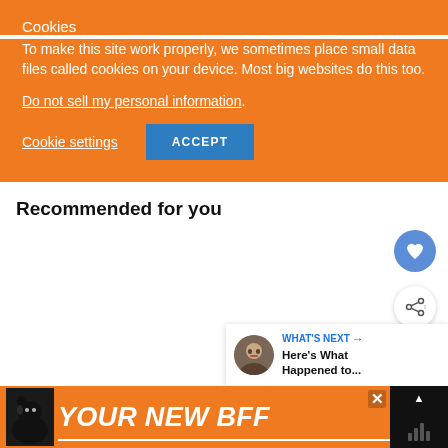Cookies
To make this site work properly, we sometimes place small data files called cookies on your device. Most big websites do this too.
Do not sell my personal information.
Cookie settings
ACCEPT
Recommended for you
WHAT'S NEXT → Here's What Happened to...
[Figure (screenshot): Orange and black advertisement banner reading YOUR NEW BFF with dog image]